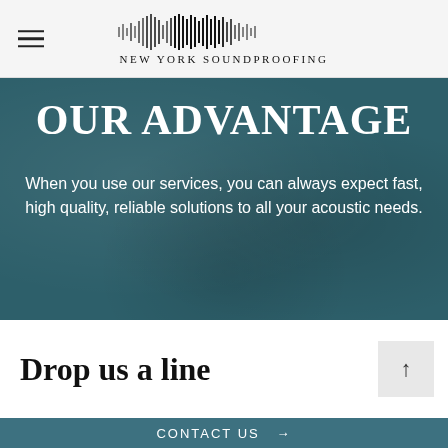[Figure (logo): New York Soundproofing logo with sound wave graphic above the text]
OUR ADVANTAGE
When you use our services, you can always expect fast, high quality, reliable solutions to all your acoustic needs.
Drop us a line
CONTACT US →